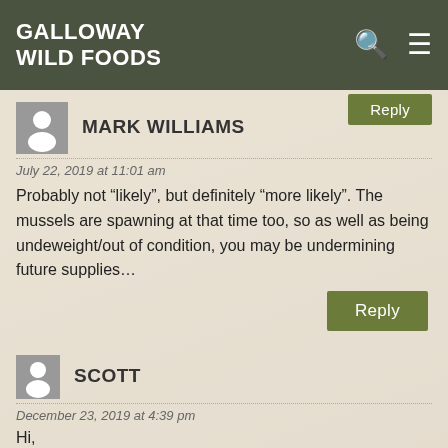GALLOWAY WILD FOODS
MARK WILLIAMS
July 22, 2019 at 11:01 am
Probably not “likely”, but definitely “more likely”. The mussels are spawning at that time too, so as well as being undeweight/out of condition, you may be undermining future supplies…
Reply
SCOTT
December 23, 2019 at 4:39 pm
Hi,